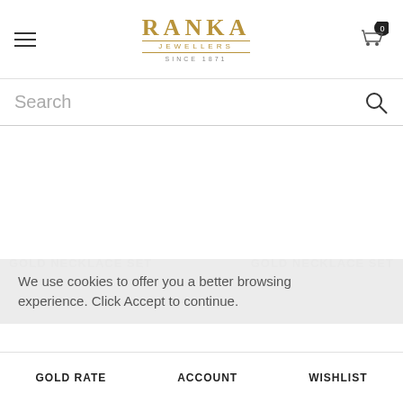RANKA JEWELLERS SINCE 1871
Search
We use cookies to offer you a better browsing experience. Click Accept to continue.
GOLD NECKLACE SET  GOLD NECKLACE SET
GOLD RATE  ACCOUNT  WISHLIST